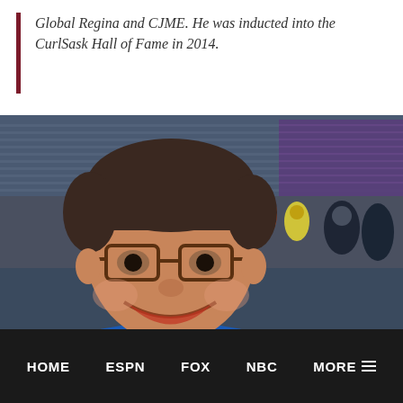Global Regina and CJME. He was inducted into the CurlSask Hall of Fame in 2014.
[Figure (photo): A smiling middle-aged man with glasses wearing a blue shirt taking a selfie at a crowded sports arena with purple seats in the background.]
HOME   ESPN   FOX   NBC   MORE